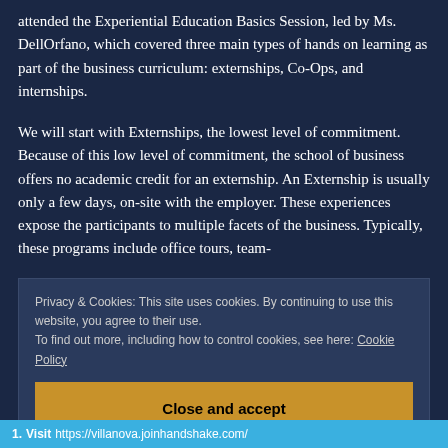attended the Experiential Education Basics Session, led by Ms. DellOrfano, which covered three main types of hands on learning as part of the business curriculum: externships, Co-Ops, and internships.
We will start with Externships, the lowest level of commitment. Because of this low level of commitment, the school of business offers no academic credit for an externship. An Externship is usually only a few days, on-site with the employer. These experiences expose the participants to multiple facets of the business. Typically, these programs include office tours, team-
Privacy & Cookies: This site uses cookies. By continuing to use this website, you agree to their use.
To find out more, including how to control cookies, see here: Cookie Policy
Close and accept
1. Visit https://villanova.joinhandshake.com/